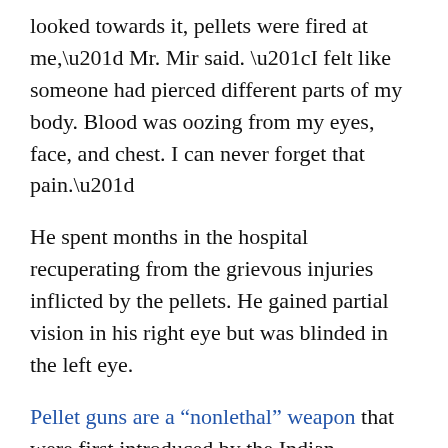looked towards it, pellets were fired at me,” Mr. Mir said. “I felt like someone had pierced different parts of my body. Blood was oozing from my eyes, face, and chest. I can never forget that pain.”
He spent months in the hospital recuperating from the grievous injuries inflicted by the pellets. He gained partial vision in his right eye but was blinded in the left eye.
Pellet guns are a “nonlethal” weapon that were first introduced by the Indian government into the region of Kashmir in 2010 to squelch a surge of protests against Indian rule. The guns shoot a non-spherical projectile made of a malleable material, usually lead, that can inflict multiple organ injuries. Subsequent years have seen a rise in cases of people with loss of eyesight and even death due to its use from a very